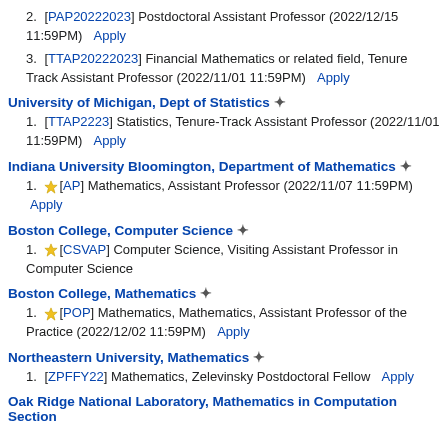2. [PAP20222023] Postdoctoral Assistant Professor (2022/12/15 11:59PM)  Apply
3. [TTAP20222023] Financial Mathematics or related field, Tenure Track Assistant Professor (2022/11/01 11:59PM)  Apply
University of Michigan, Dept of Statistics ✤
1. [TTAP2223] Statistics, Tenure-Track Assistant Professor (2022/11/01 11:59PM)  Apply
Indiana University Bloomington, Department of Mathematics ✤
1. ★[AP] Mathematics, Assistant Professor (2022/11/07 11:59PM) Apply
Boston College, Computer Science ✤
1. ★[CSVAP] Computer Science, Visiting Assistant Professor in Computer Science
Boston College, Mathematics ✤
1. ★[POP] Mathematics, Mathematics, Assistant Professor of the Practice (2022/12/02 11:59PM)  Apply
Northeastern University, Mathematics ✤
1. [ZPFFY22] Mathematics, Zelevinsky Postdoctoral Fellow  Apply
Oak Ridge National Laboratory, Mathematics in Computation Section ✤